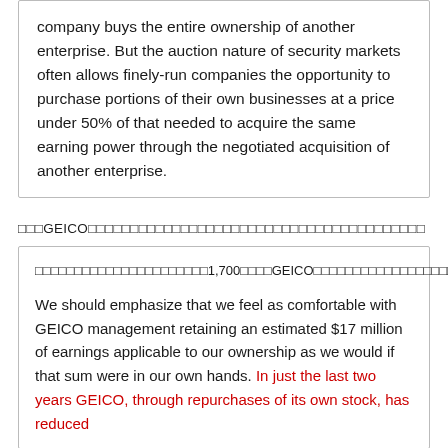company buys the entire ownership of another enterprise. But the auction nature of security markets often allows finely-run companies the opportunity to purchase portions of their own businesses at a price under 50% of that needed to acquire the same earning power through the negotiated acquisition of another enterprise.
□□□GEICO□□□□□□□□□□□□□□□□□□□□□□□□□□□□□□□□□□□□□□□□
□□□□□□□□□□□□□□□□□□□□□□1,700□□□□GEICO□□□□□□□□□□□□□□□□□□□□□□□□□□□□□□□□□□□□□□□□□□□□□□□□□□2□□□GEICO□□□□□□□□□□□□□□□□□□3,420□□□2,160□□□□□□□□□□□□□□□□□□GEICO□□□□□□□□□□□□□□□□□□□□□□□□□□□□□□□□□□□□□□□□□□□□□□□□□□□

We should emphasize that we feel as comfortable with GEICO management retaining an estimated $17 million of earnings applicable to our ownership as we would if that sum were in our own hands. In just the last two years GEICO, through repurchases of its own stock, has reduced